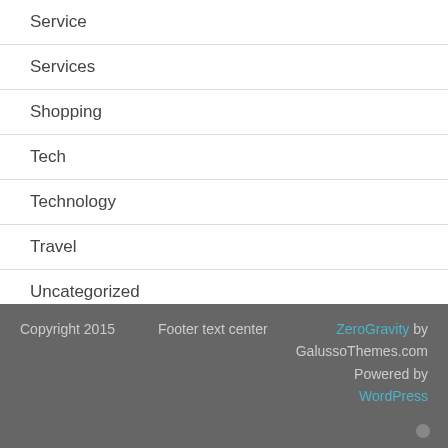Service
Services
Shopping
Tech
Technology
Travel
Uncategorized
Copyright 2015   Footer text center   ZeroGravity by GalussoThemes.com  Powered by WordPress